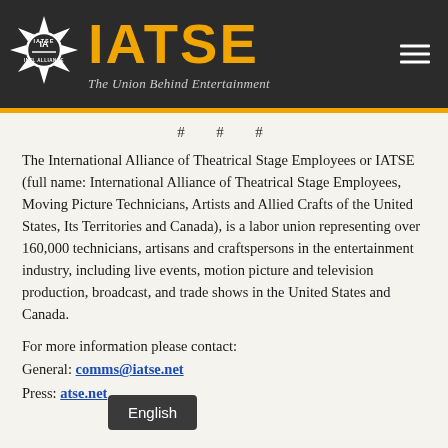IATSE — The Union Behind Entertainment
# # #
The International Alliance of Theatrical Stage Employees or IATSE (full name: International Alliance of Theatrical Stage Employees, Moving Picture Technicians, Artists and Allied Crafts of the United States, Its Territories and Canada), is a labor union representing over 160,000 technicians, artisans and craftspersons in the entertainment industry, including live events, motion picture and television production, broadcast, and trade shows in the United States and Canada.
For more information please contact:
General: comms@iatse.net
Press: [press]@iatse.net